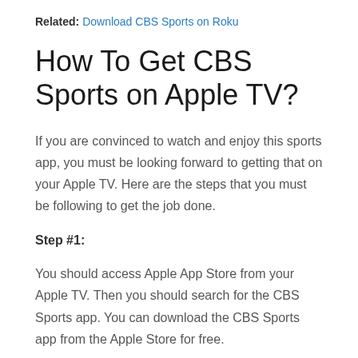Related: Download CBS Sports on Roku
How To Get CBS Sports on Apple TV?
If you are convinced to watch and enjoy this sports app, you must be looking forward to getting that on your Apple TV. Here are the steps that you must be following to get the job done.
Step #1:
You should access Apple App Store from your Apple TV. Then you should search for the CBS Sports app. You can download the CBS Sports app from the Apple Store for free.
Step #2:
Once you are done with the downloading and installing process, the CBS...